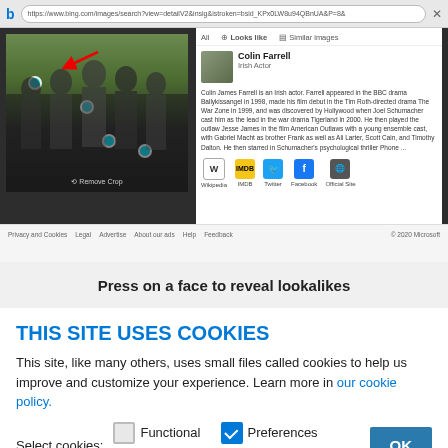[Figure (screenshot): Bing image search screenshot showing face recognition feature with Colin Farrell identified, tabs for All/Looks like/Similar images, social links to Wikipedia, IMDB, Twitter, Facebook, Official Site]
Press on a face to reveal lookalikes
THIS SITE USES COOKIES
This site, like many others, uses small files called cookies to help us improve and customize your experience. Learn more in our cookie policy.
Select cookies: Functional Preferences Analytics Marketing OK